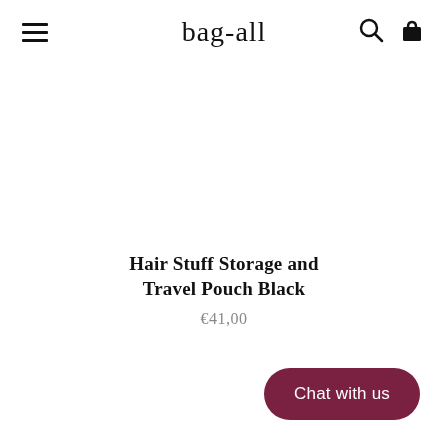bag-all
Hair Stuff Storage and Travel Pouch Black
€41,00
Chat with us